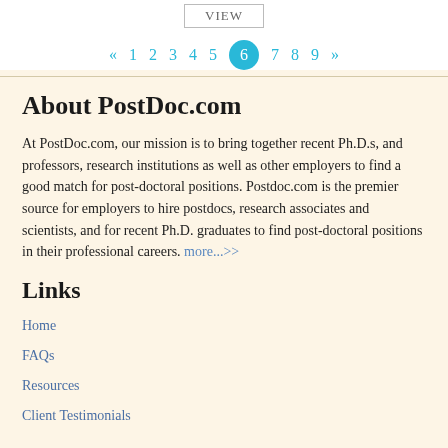VIEW
« 1 2 3 4 5 6 7 8 9 »
About PostDoc.com
At PostDoc.com, our mission is to bring together recent Ph.D.s, and professors, research institutions as well as other employers to find a good match for post-doctoral positions. Postdoc.com is the premier source for employers to hire postdocs, research associates and scientists, and for recent Ph.D. graduates to find post-doctoral positions in their professional careers. more...>>
Links
Home
FAQs
Resources
Client Testimonials